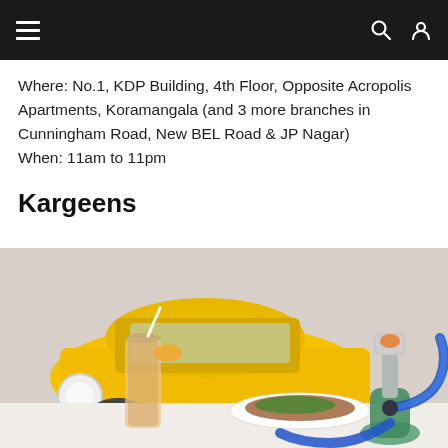≡  🔍  👤
Where: No.1, KDP Building, 4th Floor, Opposite Acropolis Apartments, Koramangala (and 3 more branches in Cunningham Road, New BEL Road & JP Nagar)
When: 11am to 11pm
Kargeens
[Figure (photo): Restaurant interior/exterior scene with a yellow vintage car in background, a tall glass drink with straw and orange slice, a plate of food, and a green hookah with blue hose on a white table.]